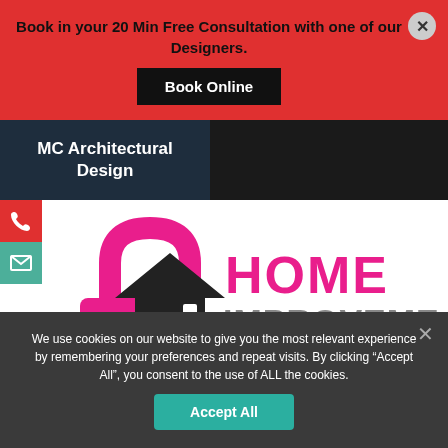Book in your 20 Min Free Consultation with one of our Designers.
Book Online
MC Architectural Design
[Figure (logo): Home Improvement Protection logo with pink unlocked padlock over black house silhouette, and bold stylized text reading HOME IMPROVEMENT PROTECTION]
We use cookies on our website to give you the most relevant experience by remembering your preferences and repeat visits. By clicking “Accept All”, you consent to the use of ALL the cookies.
Accept All